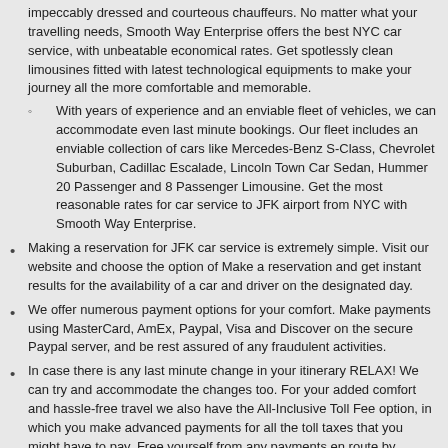impeccably dressed and courteous chauffeurs. No matter what your travelling needs, Smooth Way Enterprise offers the best NYC car service, with unbeatable economical rates. Get spotlessly clean limousines fitted with latest technological equipments to make your journey all the more comfortable and memorable.
With years of experience and an enviable fleet of vehicles, we can accommodate even last minute bookings. Our fleet includes an enviable collection of cars like Mercedes-Benz S-Class, Chevrolet Suburban, Cadillac Escalade, Lincoln Town Car Sedan, Hummer 20 Passenger and 8 Passenger Limousine. Get the most reasonable rates for car service to JFK airport from NYC with Smooth Way Enterprise.
Making a reservation for JFK car service is extremely simple. Visit our website and choose the option of Make a reservation and get instant results for the availability of a car and driver on the designated day.
We offer numerous payment options for your comfort. Make payments using MasterCard, AmEx, Paypal, Visa and Discover on the secure Paypal server, and be rest assured of any fraudulent activities.
In case there is any last minute change in your itinerary RELAX! We can try and accommodate the changes too. For your added comfort and hassle-free travel we also have the All-Inclusive Toll Fee option, in which you make advanced payments for all the toll taxes that you might have to pay. Free yourself from any payments en route by choosing this option.